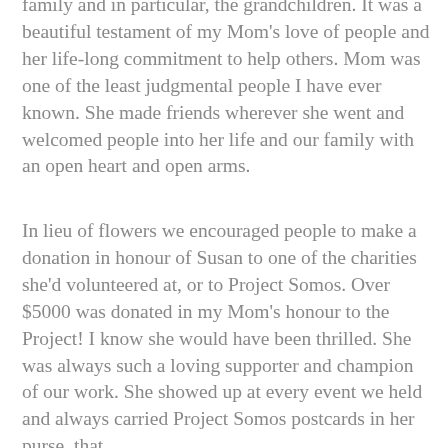family and in particular, the grandchildren. It was a beautiful testament of my Mom's love of people and her life-long commitment to help others. Mom was one of the least judgmental people I have ever known. She made friends wherever she went and welcomed people into her life and our family with an open heart and open arms.
In lieu of flowers we encouraged people to make a donation in honour of Susan to one of the charities she'd volunteered at, or to Project Somos. Over $5000 was donated in my Mom's honour to the Project! I know she would have been thrilled. She was always such a loving supporter and champion of our work. She showed up at every event we held and always carried Project Somos postcards in her purse, that